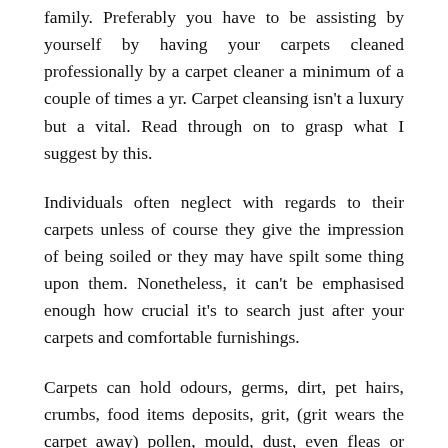family. Preferably you have to be assisting by yourself by having your carpets cleaned professionally by a carpet cleaner a minimum of a couple of times a yr. Carpet cleansing isn't a luxury but a vital. Read through on to grasp what I suggest by this.
Individuals often neglect with regards to their carpets unless of course they give the impression of being soiled or they may have spilt some thing upon them. Nonetheless, it can't be emphasised enough how crucial it's to search just after your carpets and comfortable furnishings.
Carpets can hold odours, germs, dirt, pet hairs, crumbs, food items deposits, grit, (grit wears the carpet away) pollen, mould, dust, even fleas or fleas eggs. Could you picture the germs and micro organism inside your carpets